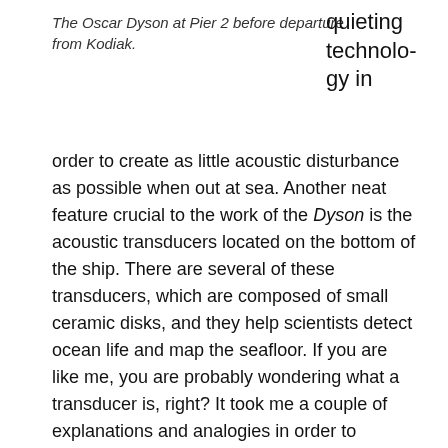The Oscar Dyson at Pier 2 before departure from Kodiak.
quieting technology in
order to create as little acoustic disturbance as possible when out at sea. Another neat feature crucial to the work of the Dyson is the acoustic transducers located on the bottom of the ship. There are several of these transducers, which are composed of small ceramic disks, and they help scientists detect ocean life and map the seafloor. If you are like me, you are probably wondering what a transducer is, right? It took me a couple of explanations and analogies in order to understand what was happening in these tiny devices. Remember, sound waves are pressure waves that move through a medium, in this case water. The transducer converts electrical energy to mechanical energy, expanding and contracting with electrical signal it receives. This expansion and contraction creates sound waves that move through the